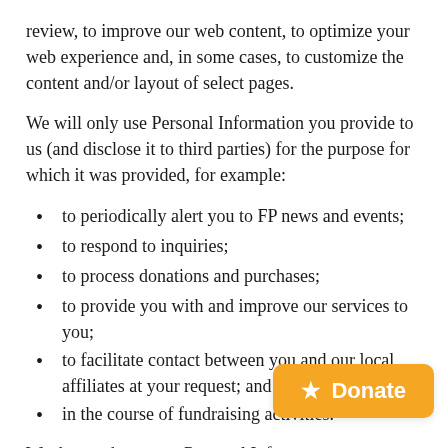review, to improve our web content, to optimize your web experience and, in some cases, to customize the content and/or layout of select pages.
We will only use Personal Information you provide to us (and disclose it to third parties) for the purpose for which it was provided, for example:
to periodically alert you to FP news and events;
to respond to inquiries;
to process donations and purchases;
to provide you with and improve our services to you;
to facilitate contact between you and our local affiliates at your request; and
in the course of fundraising activities.
We do not share your Personal Informa… parties without your consent, except un… circumstances: